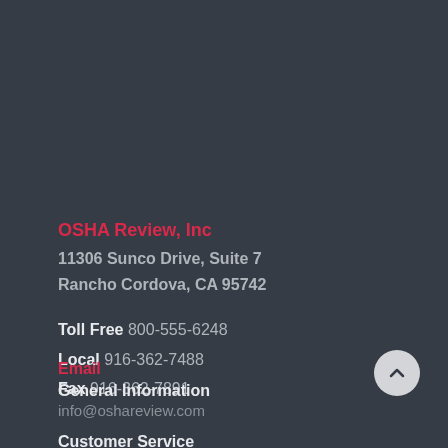OSHA Review, Inc
11306 Sunco Drive, Suite 7
Rancho Cordova, CA 95742
Toll Free 800-555-6248
Local 916-362-7488
Fax 916-362-7891
Email
General Information
info@oshareview.com
Customer Service